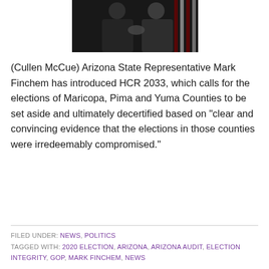[Figure (photo): Two men in dark suits shaking hands in front of US flags]
(Cullen McCue) Arizona State Representative Mark Finchem has introduced HCR 2033, which calls for the elections of Maricopa, Pima and Yuma Counties to be set aside and ultimately decertified based on "clear and convincing evidence that the elections in those counties were irredeemably compromised."
FILED UNDER: NEWS, POLITICS
TAGGED WITH: 2020 ELECTION, ARIZONA, ARIZONA AUDIT, ELECTION INTEGRITY, GOP, MARK FINCHEM, NEWS